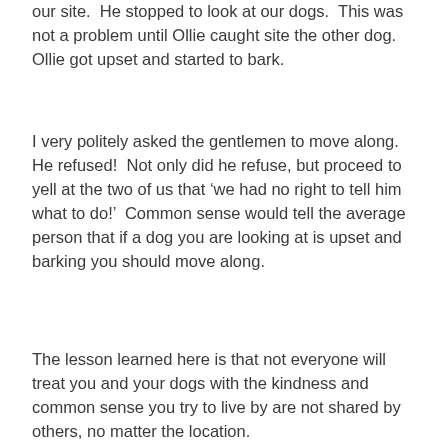our site.  He stopped to look at our dogs.  This was not a problem until Ollie caught site the other dog.  Ollie got upset and started to bark.
I very politely asked the gentlemen to move along.  He refused!  Not only did he refuse, but proceed to yell at the two of us that ‘we had no right to tell him what to do!’  Common sense would tell the average person that if a dog you are looking at is upset and barking you should move along.
The lesson learned here is that not everyone will treat you and your dogs with the kindness and common sense you try to live by are not shared by others, no matter the location.